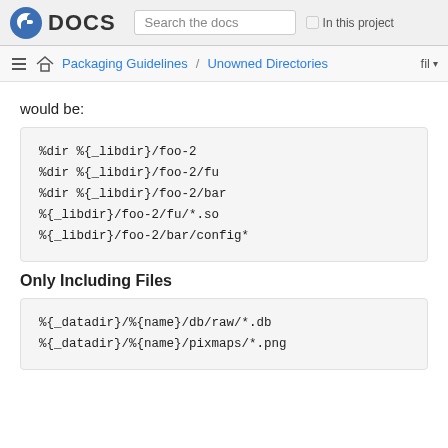Fedora DOCS | Search the docs | In this project
Packaging Guidelines / Unowned Directories | fil
would be:
%dir %{_libdir}/foo-2
%dir %{_libdir}/foo-2/fu
%dir %{_libdir}/foo-2/bar
%{_libdir}/foo-2/fu/*.so
%{_libdir}/foo-2/bar/config*
Only Including Files
%{_datadir}/%{name}/db/raw/*.db
%{_datadir}/%{name}/pixmaps/*.png